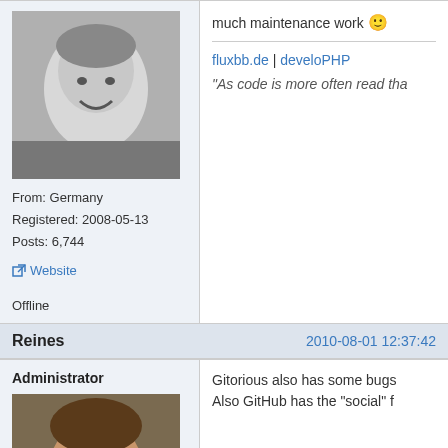[Figure (photo): Black and white profile photo of a smiling young man]
From: Germany
Registered: 2008-05-13
Posts: 6,744
Website
Offline
much maintenance work :)
fluxbb.de | develoPHP
"As code is more often read tha
Reines
2010-08-01 12:37:42
Administrator
[Figure (photo): Color photo of a man with sunglasses and beard wearing a blue shirt]
From: Scotland
Registered: 2008-05-11
Posts: 3,197
Gitorious also has some bugs
Also GitHub has the "social" f